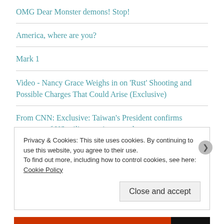OMG Dear Monster demons! Stop!
America, where are you?
Mark 1
Video - Nancy Grace Weighs in on 'Rust' Shooting and Possible Charges That Could Arise (Exclusive)
From CNN: Exclusive: Taiwan's President confirms presence of US military trainers on the
Privacy & Cookies: This site uses cookies. By continuing to use this website, you agree to their use.
To find out more, including how to control cookies, see here: Cookie Policy
Close and accept